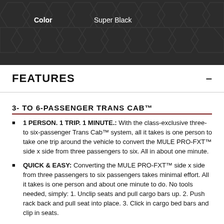Color    Super Black
FEATURES
3- TO 6-PASSENGER TRANS CAB™
1 PERSON. 1 TRIP. 1 MINUTE.: With the class-exclusive three- to six-passenger Trans Cab™ system, all it takes is one person to take one trip around the vehicle to convert the MULE PRO-FXT™ side x side from three passengers to six. All in about one minute.
QUICK & EASY: Converting the MULE PRO-FXT™ side x side from three passengers to six passengers takes minimal effort. All it takes is one person and about one minute to do. No tools needed, simply: 1. Unclip seats and pull cargo bars up. 2. Push rack back and pull seat into place. 3. Click in cargo bed bars and clip in seats.
COMFORT
ROOM TO RIDE: Drive comfortably in a roomy cabin that offers generous leg, shoulder, and head clearance, along